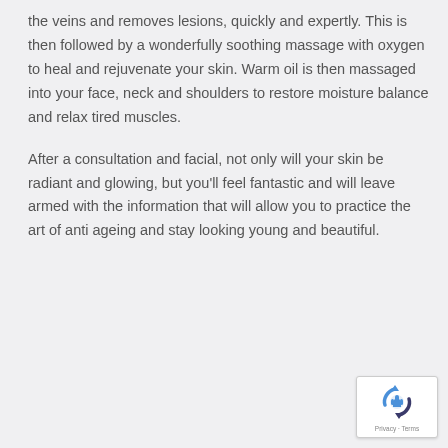the veins and removes lesions, quickly and expertly.  This is then followed by a wonderfully soothing massage with oxygen to heal and rejuvenate your skin.  Warm oil is then massaged into your face, neck and shoulders to restore moisture balance and relax tired muscles.
After a consultation and facial, not only will your skin be radiant and glowing, but you'll feel fantastic and will leave armed with the information that will allow you to practice the art of anti ageing and stay looking young and beautiful.
[Figure (logo): Google reCAPTCHA badge with recycling-arrow icon and Privacy - Terms text]